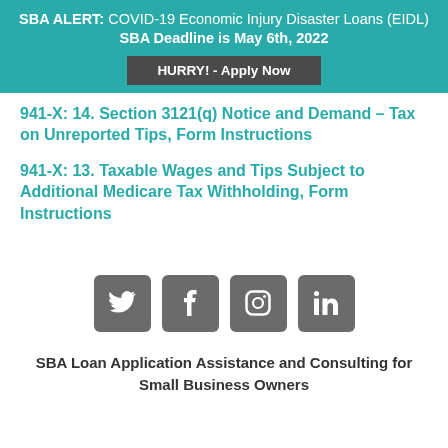SBA ALERT: COVID-19 Economic Injury Disaster Loans (EIDL) SBA Deadline is May 6th, 2022
HURRY! - Apply Now
941-X: 14. Section 3121(q) Notice and Demand – Tax on Unreported Tips, Form Instructions
941-X: 13. Taxable Wages and Tips Subject to Additional Medicare Tax Withholding, Form Instructions
[Figure (infographic): Four social media icon buttons: Twitter, Facebook, Instagram, LinkedIn]
SBA Loan Application Assistance and Consulting for Small Business Owners